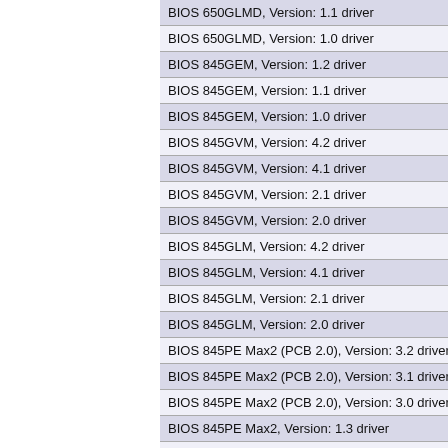| BIOS 650GLMD, Version: 1.1 driver |
| BIOS 650GLMD, Version: 1.0 driver |
| BIOS 845GEM, Version: 1.2 driver |
| BIOS 845GEM, Version: 1.1 driver |
| BIOS 845GEM, Version: 1.0 driver |
| BIOS 845GVM, Version: 4.2 driver |
| BIOS 845GVM, Version: 4.1 driver |
| BIOS 845GVM, Version: 2.1 driver |
| BIOS 845GVM, Version: 2.0 driver |
| BIOS 845GLM, Version: 4.2 driver |
| BIOS 845GLM, Version: 4.1 driver |
| BIOS 845GLM, Version: 2.1 driver |
| BIOS 845GLM, Version: 2.0 driver |
| BIOS 845PE Max2 (PCB 2.0), Version: 3.2 driver |
| BIOS 845PE Max2 (PCB 2.0), Version: 3.1 driver |
| BIOS 845PE Max2 (PCB 2.0), Version: 3.0 driver |
| BIOS 845PE Max2, Version: 1.3 driver |
| BIOS 845PE Max2, Version: 1.2 driver |
| BIOS 845PE Max2, Version: 1.1 driver |
| BIOS 850E Max2, Version: 1.0 driver |
| BIOS 648 Max-V, Version: 5.1 driver |
| BIOS 648 Max-V, Version: 5.0 driver |
| BIOS 648 Max, Version: 1.5 driver |